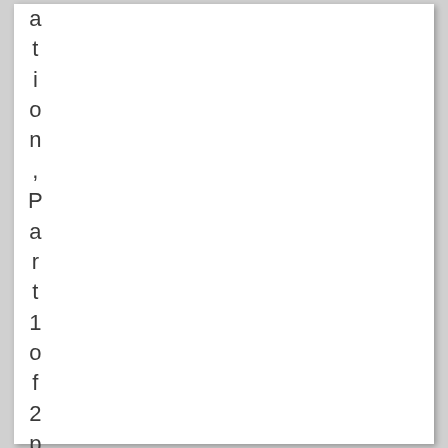ation, Part 1 of 2 practice exa